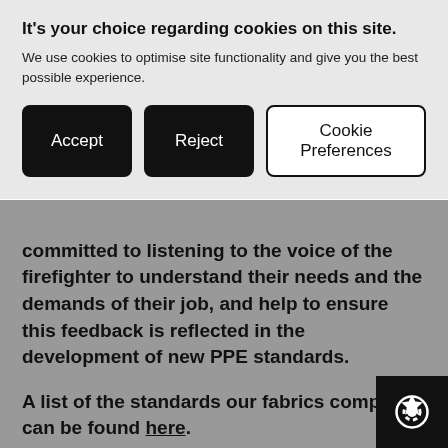It's your choice regarding cookies on this site.
We use cookies to optimise site functionality and give you the best possible experience.
Accept | Reject | Cookie Preferences
committed to listening to the voice of the firefighter to understand their needs and the demands of their job, and help to ensure this feedback is reflected in the development of new PPE standards.
A list of the standards our fabrics comply to can be found here.
State-of-the-art lab facilities